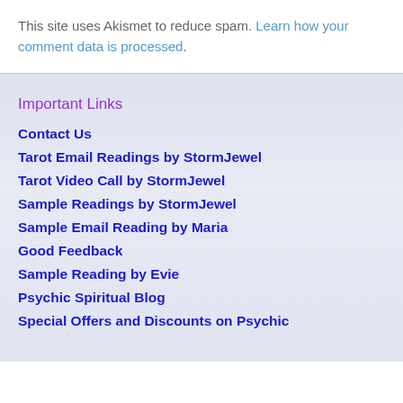This site uses Akismet to reduce spam. Learn how your comment data is processed.
Important Links
Contact Us
Tarot Email Readings by StormJewel
Tarot Video Call by StormJewel
Sample Readings by StormJewel
Sample Email Reading by Maria
Good Feedback
Sample Reading by Evie
Psychic Spiritual Blog
Special Offers and Discounts on Psychic